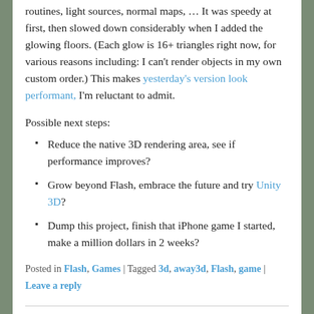routines, light sources, normal maps, … It was speedy at first, then slowed down considerably when I added the glowing floors. (Each glow is 16+ triangles right now, for various reasons including: I can't render objects in my own custom order.) This makes yesterday's version look performant, I'm reluctant to admit.
Possible next steps:
Reduce the native 3D rendering area, see if performance improves?
Grow beyond Flash, embrace the future and try Unity 3D?
Dump this project, finish that iPhone game I started, make a million dollars in 2 weeks?
Posted in Flash, Games | Tagged 3d, away3d, Flash, game | Leave a reply
Flash 3D makes me sad